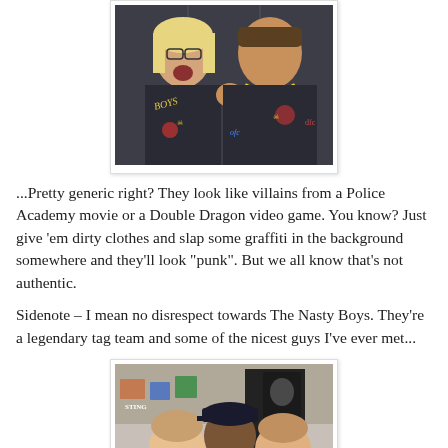[Figure (photo): Two people in decorated leather jackets with painted designs, one with open mouth yelling, indoor setting with lockers in background]
...Pretty generic right? They look like villains from a Police Academy movie or a Double Dragon video game. You know? Just give 'em dirty clothes and slap some graffiti in the background somewhere and they'll look "punk". But we all know that's not authentic.
Sidenote – I mean no disrespect towards The Nasty Boys. They're a legendary tag team and some of the nicest guys I've ever met...
[Figure (photo): Three people posing together smiling in what appears to be a store with merchandise/t-shirts visible in background]